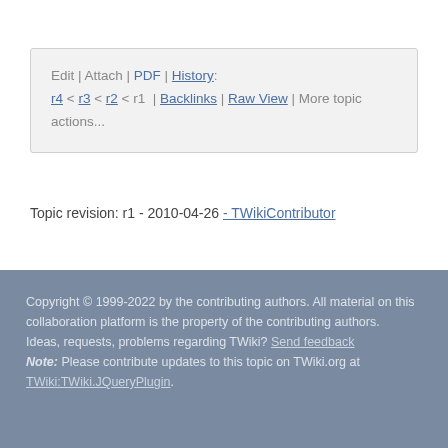Edit | Attach | PDF | History: r4 < r3 < r2 < r1 | Backlinks | Raw View | More topic actions...
Topic revision: r1 - 2010-04-26 - TWikiContributor
Copyright © 1999-2022 by the contributing authors. All material on this collaboration platform is the property of the contributing authors. Ideas, requests, problems regarding TWiki? Send feedback Note: Please contribute updates to this topic on TWiki.org at TWiki:TWiki.JQueryPlugin.